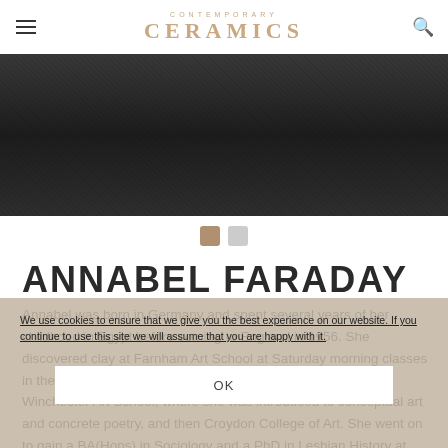CONTEMPORARY CERAMICS
[Figure (photo): Black and white photo of Annabel Faraday, dark textured clothing]
[Figure (other): Carousel navigation dots — one active (tan/brown) and one inactive (grey)]
ANNABEL FARADAY
Annabel was born in Germany and spent several years of her childhood in Egypt before coming to England in 1956. She discovered clay at Farnham Art School at Saturday morning classes in the early 1960s. After leaving school in 1967, she attended Winchester Art School, where she was introduced to conceptual art and concrete poetry, and then Croydon College of Art. She went on to gain a BA(Hons) in Sociology and a PhD in Lesbian History at Essex University, then introduced and taught Lesbian Studies at Birkbeck
We use cookies to ensure that we give you the best experience on our website. If you continue to use this site we will assume that you are happy with it.
OK